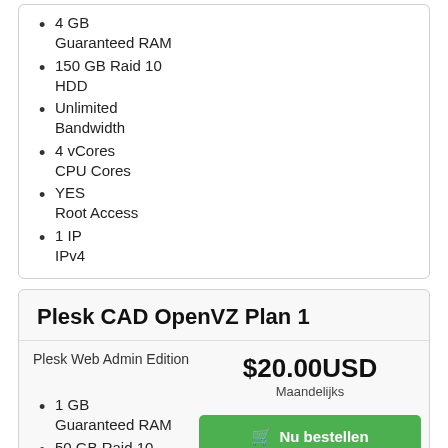4 GB Guaranteed RAM
150 GB Raid 10 HDD
Unlimited Bandwidth
4 vCores CPU Cores
YES Root Access
1 IP IPv4
Plesk CAD OpenVZ Plan 1
Plesk Web Admin Edition
$20.00USD
Maandelijks
1 GB Guaranteed RAM
50 GB Raid 10 HDD
Unlimited Bandwidth